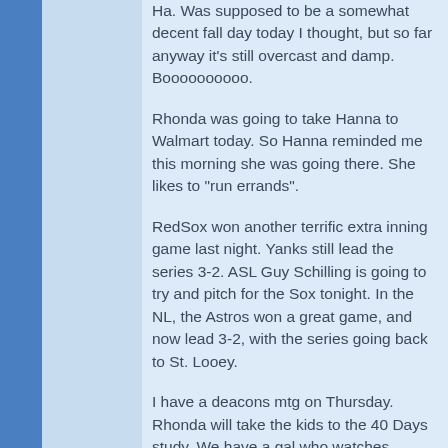Ha. Was supposed to be a somewhat decent fall day today I thought, but so far anyway it's still overcast and damp. Boooooooooo.
Rhonda was going to take Hanna to Walmart today. So Hanna reminded me this morning she was going there. She likes to "run errands".
RedSox won another terrific extra inning game last night. Yanks still lead the series 3-2. ASL Guy Schilling is going to try and pitch for the Sox tonight. In the NL, the Astros won a great game, and now lead 3-2, with the series going back to St. Looey.
I have a deacons mtg on Thursday. Rhonda will take the kids to the 40 Days study. We have a gal who watches